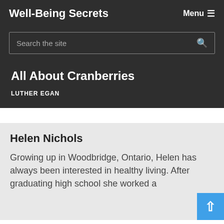Well-Being Secrets
Search the site
All About Cranberries
LUTHER EGAN
Helen Nichols
Growing up in Woodbridge, Ontario, Helen has always been interested in healthy livin... After graduating high school she worked a...